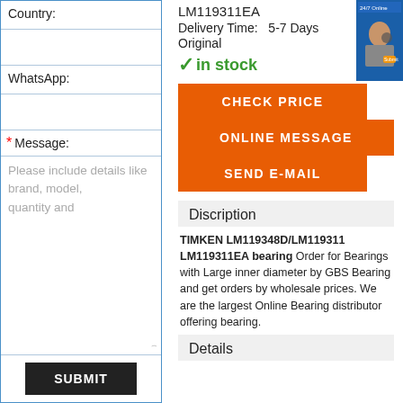Country:
WhatsApp:
* Message:
Please include details like brand, model, quantity and
SUBMIT
LM119311EA
Delivery Time:   5-7 Days
Original
✓in stock
CHECK PRICE
ONLINE MESSAGE
SEND E-MAIL
Discription
TIMKEN LM119348D/LM119311 LM119311EA bearing Order for Bearings with Large inner diameter by GBS Bearing and get orders by wholesale prices. We are the largest Online Bearing distributor offering bearing.
Details